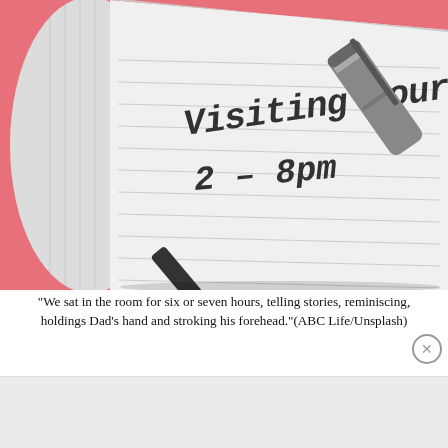[Figure (illustration): Illustration of an open notebook with handwritten text 'Visiting hours 2-8pm', a fountain pen nib at the bottom, and a metallic pen cap in the upper right, against a pink/rose background.]
"We sat in the room for six or seven hours, telling stories, reminiscing, holdings Dad's hand and stroking his forehead."(ABC Life/Unsplash)
Advertisements
[Figure (screenshot): Advertisement banner for Longreads with logo and tagline 'Read anything great lately?']